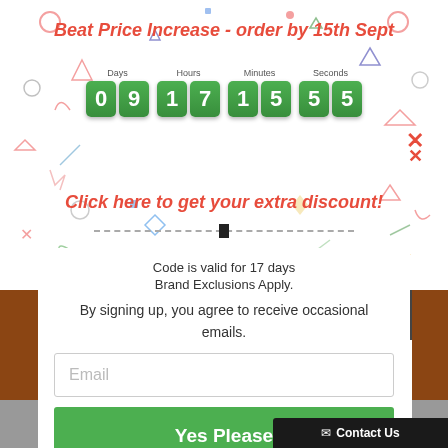Beat Price Increase - order by 15th Sept
[Figure (infographic): Countdown timer showing Days 09, Hours 17, Minutes 15, Seconds 55 in green digit boxes]
Click here to get your extra discount!
Code is valid for 17 days
Brand Exclusions Apply.
By signing up, you agree to receive occasional emails.
Email
Yes Please
No, thanks, I'll pay more :-)
Contact Us